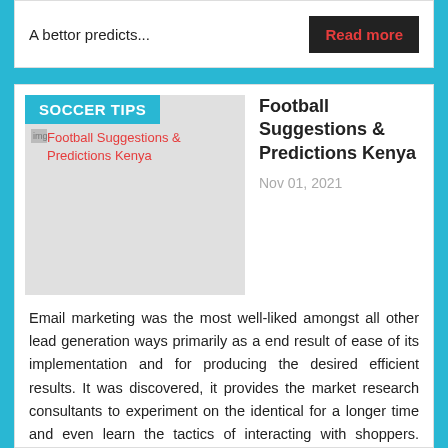A bettor predicts...
Read more
SOCCER TIPS
[Figure (illustration): Football Suggestions & Predictions Kenya image placeholder with broken image icon]
Football Suggestions & Predictions Kenya
Nov 01, 2021
Email marketing was the most well-liked amongst all other lead generation ways primarily as a end result of ease of its implementation and for producing the desired efficient results. It was discovered, it provides the market research consultants to experiment on the identical for a longer time and even learn the tactics of interacting with shoppers. “Tusker Malt Lager prides itself in its long-standing relationship with golf in Uganda. Our dedication is 100 percent undisputed, one that continues to be constant and continues to manifest with our